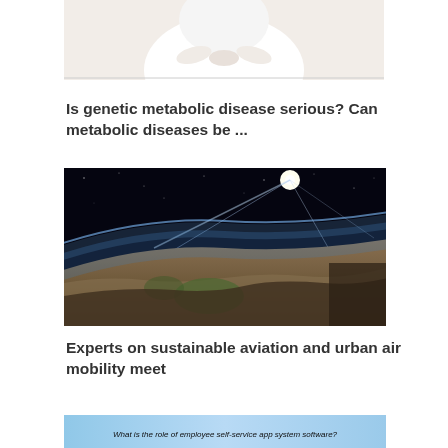[Figure (photo): Partial photo of a person in white clothing, cropped at the top, showing torso and hands folded at waist]
Is genetic metabolic disease serious? Can metabolic diseases be ...
[Figure (photo): Photo of Earth from space showing the curvature of the planet with atmosphere and bright sunlight/flare above]
Experts on sustainable aviation and urban air mobility meet
[Figure (photo): Partial bottom image with text: What is the role of employee self-service app system software?]